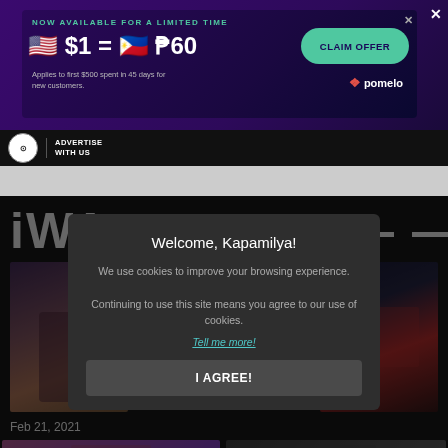[Figure (screenshot): Advertisement banner for Pomelo money transfer: NOW AVAILABLE FOR A LIMITED TIME, $1 = P60, CLAIM OFFER button, Applies to first $500 spent in 45 days for new customers, pomelo logo]
[Figure (logo): ABS-CBN logo circle with ADVERTISE WITH US text in navigation bar]
iWA...ODES
[Figure (screenshot): Cookie consent modal overlay: Welcome, Kapamilya! We use cookies to improve your browsing experience. Continuing to use this site means you agree to our use of cookies. Tell me more! I AGREE! button]
[Figure (photo): Thumbnail of TV show episode, female host with microphone, Feb 21, 2021]
[Figure (photo): Thumbnail of TV show episode, performers on stage in red costumes]
Feb 21, 2021
[Figure (photo): Bottom left thumbnail, female celebrity on pink/purple background]
[Figure (photo): Bottom right thumbnail, female celebrity on dark background]